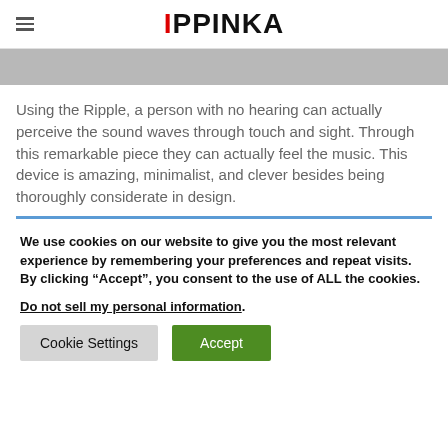IPPINKA
[Figure (photo): Gray image strip at top of page, partially cropped]
Using the Ripple, a person with no hearing can actually perceive the sound waves through touch and sight. Through this remarkable piece they can actually feel the music. This device is amazing, minimalist, and clever besides being thoroughly considerate in design.
We use cookies on our website to give you the most relevant experience by remembering your preferences and repeat visits. By clicking “Accept”, you consent to the use of ALL the cookies.
Do not sell my personal information.